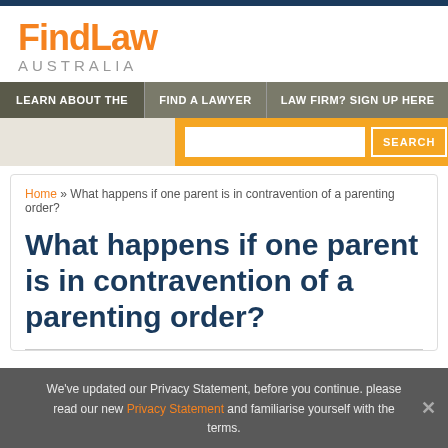FindLaw AUSTRALIA
LEARN ABOUT THE | FIND A LAWYER | LAW FIRM? SIGN UP HERE
Home » What happens if one parent is in contravention of a parenting order?
What happens if one parent is in contravention of a parenting order?
We've updated our Privacy Statement, before you continue. please read our new Privacy Statement and familiarise yourself with the terms.